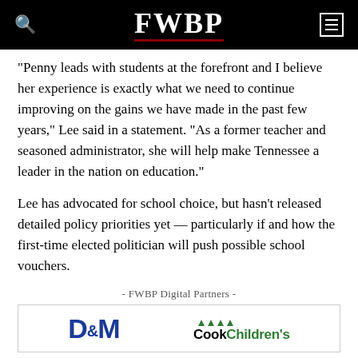FWBP
“Penny leads with students at the forefront and I believe her experience is exactly what we need to continue improving on the gains we have made in the past few years,” Lee said in a statement. “As a former teacher and seasoned administrator, she will help make Tennessee a leader in the nation on education.”
Lee has advocated for school choice, but hasn’t released detailed policy priorities yet — particularly if and how the first-time elected politician will push possible school vouchers.
- FWBP Digital Partners -
[Figure (logo): D&M and Cook Children's logos displayed as FWBP Digital Partners]